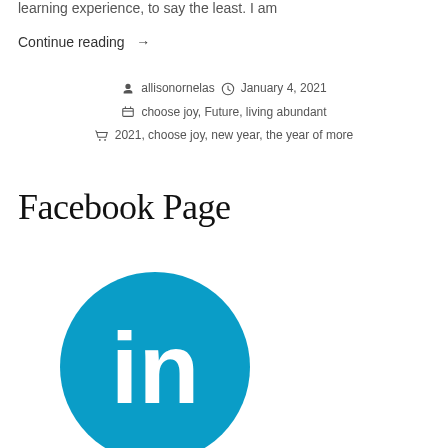learning experience, to say the least. I am
Continue reading →
allisonornelas  January 4, 2021  choose joy, Future, living abundant  2021, choose joy, new year, the year of more
Facebook Page
[Figure (logo): LinkedIn logo — blue circle with white 'in' text]